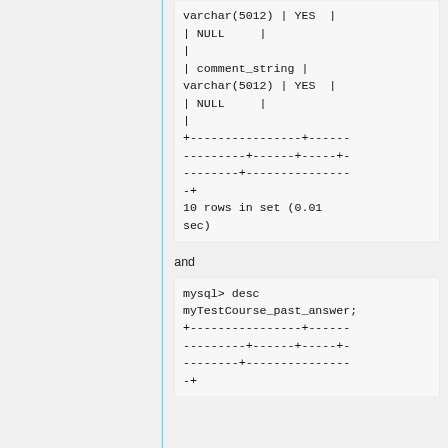| NULL     |
|
| comment_string | varchar(5012) | YES  | | NULL     |
|
+-----------------+------
---------+------+-----+-
---------+---------------
-+
10 rows in set (0.01 sec)
and
mysql> desc myTestCourse_past_answer;
+-----------------+------
---------+------+-----+-
---------+---------------
-+